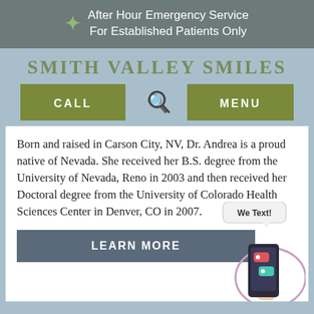After Hour Emergency Service For Established Patients Only
SMITH VALLEY SMILES
[Figure (infographic): Navigation bar with CALL button, search icon, and MENU button in olive green]
Born and raised in Carson City, NV, Dr. Andrea is a proud native of Nevada. She received her B.S. degree from the University of Nevada, Reno in 2003 and then received her Doctoral degree from the University of Colorado Health Sciences Center in Denver, CO in 2007.
[Figure (illustration): We Text! speech bubble with phone illustration showing text message bubbles]
LEARN MORE